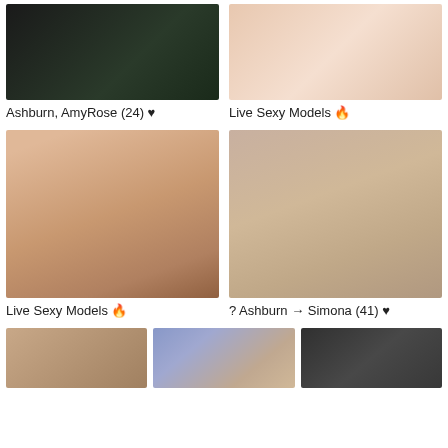[Figure (photo): Top-left: person with dark clothing and green background]
Ashburn, AmyRose (24) ♥
[Figure (photo): Top-right: close-up adult content image]
Live Sexy Models 🔥
[Figure (photo): Mid-left: tattooed person posing in room]
Live Sexy Models 🔥
[Figure (photo): Mid-right: adult content image from behind]
? Ashburn → Simona (41) ♥
[Figure (photo): Bottom-left: person in room]
[Figure (photo): Bottom-center: person posing]
[Figure (photo): Bottom-right: person]